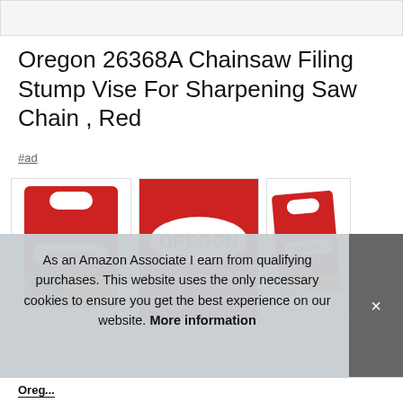[Figure (screenshot): Top bar with partial image cropped at top of page]
Oregon 26368A Chainsaw Filing Stump Vise For Sharpening Saw Chain , Red
#ad
[Figure (photo): Three product images showing Oregon 26368A Chainsaw Filing Stump Vise. First image shows front of product packaging with OREGON branding and red color. Second image shows closeup of OREGON logo on red background with text WORLD'S #1 SAW CHAIN. Third image shows angled view of the product packaging.]
As an Amazon Associate I earn from qualifying purchases. This website uses the only necessary cookies to ensure you get the best experience on our website. More information
Oreg...